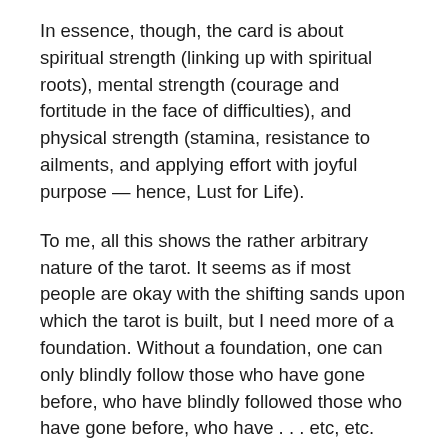In essence, though, the card is about spiritual strength (linking up with spiritual roots), mental strength (courage and fortitude in the face of difficulties), and physical strength (stamina, resistance to ailments, and applying effort with joyful purpose — hence, Lust for Life).
To me, all this shows the rather arbitrary nature of the tarot. It seems as if most people are okay with the shifting sands upon which the tarot is built, but I need more of a foundation. Without a foundation, one can only blindly follow those who have gone before, who have blindly followed those who have gone before, who have . . . etc, etc. Then you get to people like Crowley who don't blindly follow, but recreate everything according to his own mystical and “magickal” (the word he used to describe himself) inclinations.